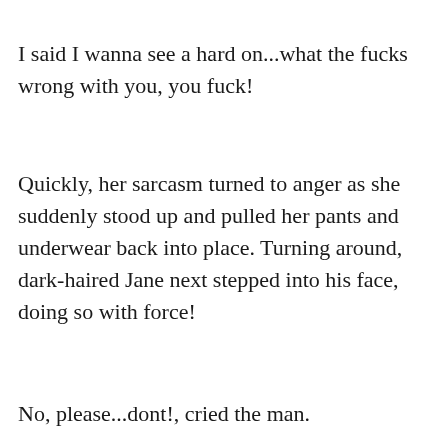I said I wanna see a hard on...what the fucks wrong with you, you fuck!
Quickly, her sarcasm turned to anger as she suddenly stood up and pulled her pants and underwear back into place. Turning around, dark-haired Jane next stepped into his face, doing so with force!
No, please...dont!, cried the man.